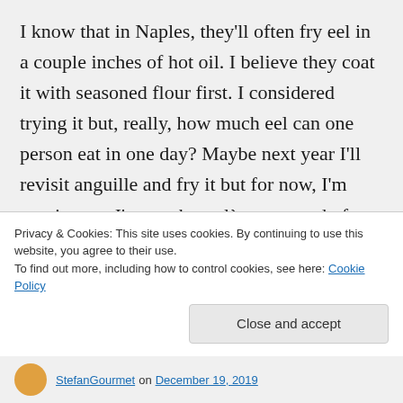I know that in Naples, they'll often fry eel in a couple inches of hot oil. I believe they coat it with seasoned flour first. I considered trying it but, really, how much eel can one person eat in one day? Maybe next year I'll revisit anguille and fry it but for now, I'm moving on. I've got baccalà to get ready for Christmas Eve. 🙂
I do hope you try this recipe and come back to tell me whether you like it and what changes, if any, you made. Good luck!
Privacy & Cookies: This site uses cookies. By continuing to use this website, you agree to their use.
To find out more, including how to control cookies, see here: Cookie Policy
StefanGourmet on December 19, 2019